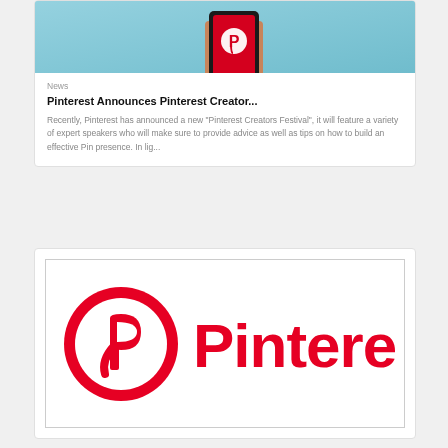[Figure (photo): Hand holding a smartphone with red Pinterest app screen showing white Pinterest logo icon]
News
Pinterest Announces Pinterest Creator...
Recently, Pinterest has announced a new “Pinterest Creators Festival”, it will feature a variety of expert speakers who will make sure to provide advice as well as tips on how to build an effective Pin presence. In lig...
[Figure (logo): Pinterest logo: red circle with white P letter icon followed by red Pinterest wordmark text]